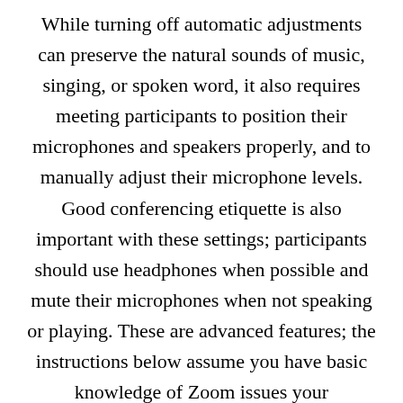While turning off automatic adjustments can preserve the natural sounds of music, singing, or spoken word, it also requires meeting participants to position their microphones and speakers properly, and to manually adjust their microphone levels. Good conferencing etiquette is also important with these settings; participants should use headphones when possible and mute their microphones when not speaking or playing. These are advanced features; the instructions below assume you have basic knowledge of Zoom issues your